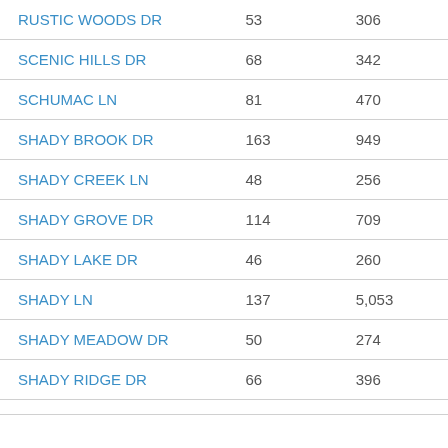| RUSTIC WOODS DR | 53 | 306 |
| SCENIC HILLS DR | 68 | 342 |
| SCHUMAC LN | 81 | 470 |
| SHADY BROOK DR | 163 | 949 |
| SHADY CREEK LN | 48 | 256 |
| SHADY GROVE DR | 114 | 709 |
| SHADY LAKE DR | 46 | 260 |
| SHADY LN | 137 | 5,053 |
| SHADY MEADOW DR | 50 | 274 |
| SHADY RIDGE DR | 66 | 396 |
| SHIRLEY HWY (partial) | 50 | 300 |